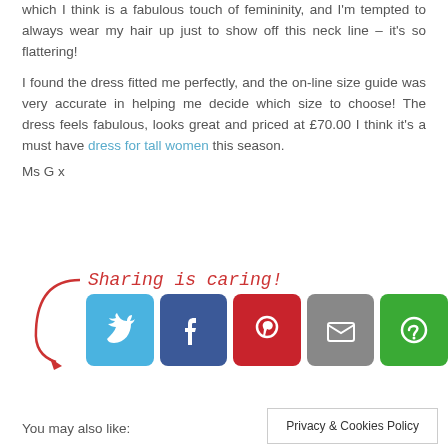which I think is a fabulous touch of femininity, and I'm tempted to always wear my hair up just to show off this neck line – it's so flattering!
I found the dress fitted me perfectly, and the on-line size guide was very accurate in helping me decide which size to choose! The dress feels fabulous, looks great and priced at £70.00 I think it's a must have dress for tall women this season.
Ms G x
[Figure (infographic): Sharing is caring! label with red arrow and social media buttons: Twitter (blue), Facebook (dark blue), Pinterest (red), Email (grey), More (green)]
You may also like:
Privacy & Cookies Policy